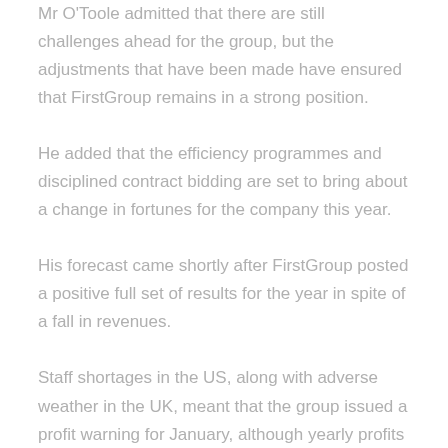Mr O'Toole admitted that there are still challenges ahead for the group, but the adjustments that have been made have ensured that FirstGroup remains in a strong position.
He added that the efficiency programmes and disciplined contract bidding are set to bring about a change in fortunes for the company this year.
His forecast came shortly after FirstGroup posted a positive full set of results for the year in spite of a fall in revenues.
Staff shortages in the US, along with adverse weather in the UK, meant that the group issued a profit warning for January, although yearly profits up to March 31 came in ahead of the low expectations of several analysts.
After the firm lost out on several rail contracts, company